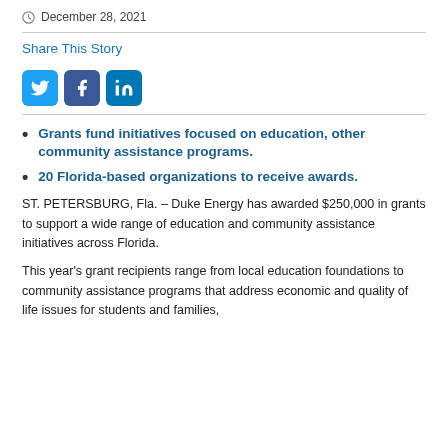December 28, 2021
Share This Story
[Figure (other): Social media share icons: Twitter (blue bird), Facebook (dark blue f), LinkedIn (blue in)]
Grants fund initiatives focused on education, other community assistance programs.
20 Florida-based organizations to receive awards.
ST. PETERSBURG, Fla. – Duke Energy has awarded $250,000 in grants to support a wide range of education and community assistance initiatives across Florida.
This year's grant recipients range from local education foundations to community assistance programs that address economic and quality of life issues for students and families,